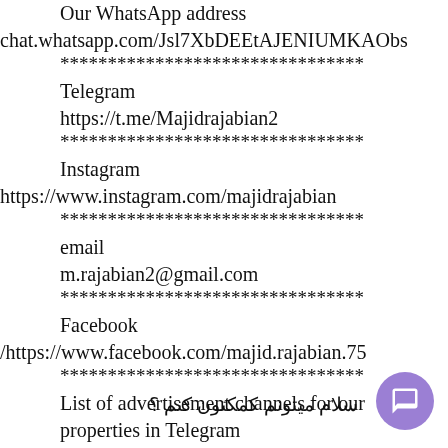Our WhatsApp address
chat.whatsapp.com/Jsl7XbDEEtAJENIUMKAObs
********************************
Telegram
https://t.me/Majidrajabian2
********************************
Instagram
https://www.instagram.com/majidrajabian
********************************
email
m.rajabian2@gmail.com
********************************
Facebook
/https://www.facebook.com/majid.rajabian.75
********************************
List of advertisement channels for our properties in Telegram
bs://t.me/joinchat/AAAAFlR97UydjhYN7VXew
********************************
Link to our real estate ads application
tp://s16.picofile
d1b2-4c6e-8624-
8af0c/majid_rajabian_agaheey_amlak_1399
سلام میتونم کمکتون کنم ؟